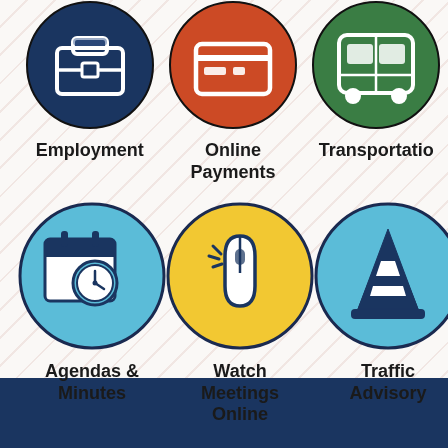[Figure (infographic): Government services icon grid showing Employment (dark blue circle), Online Payments (orange/red circle), Transportation (green circle), Agendas & Minutes (light blue circle with calendar+clock icon), Watch Meetings Online (yellow circle with mouse click icon), Traffic Advisory (light blue circle with traffic cone icon). Two pagination dots below icons. Dark navy footer bar at bottom.]
Employment
Online Payments
Transportation
Agendas & Minutes
Watch Meetings Online
Traffic Advisory